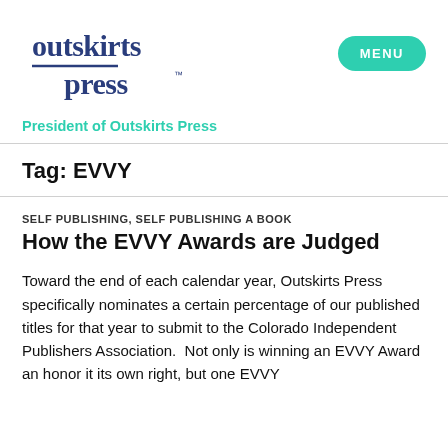[Figure (logo): Outskirts Press logo with stylized text in navy blue]
MENU
President of Outskirts Press
Tag: EVVY
SELF PUBLISHING, SELF PUBLISHING A BOOK
How the EVVY Awards are Judged
Toward the end of each calendar year, Outskirts Press specifically nominates a certain percentage of our published titles for that year to submit to the Colorado Independent Publishers Association.  Not only is winning an EVVY Award an honor it its own right, but one EVVY